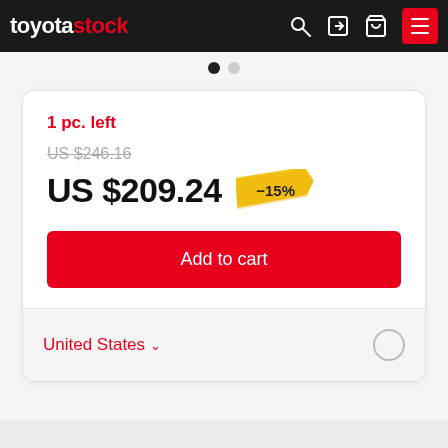toyotastock
1 pc. left
US $246.16
US $209.24 -15%
Add to cart
United States